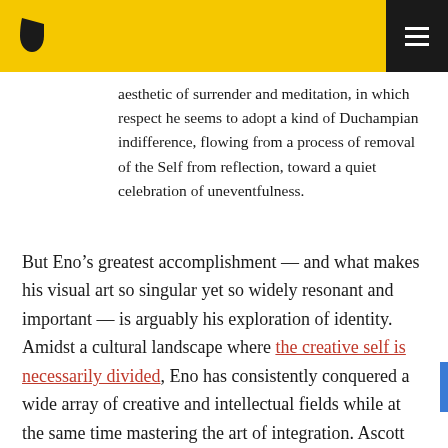aesthetic of surrender and meditation, in which respect he seems to adopt a kind of Duchampian indifference, flowing from a process of removal of the Self from reflection, toward a quiet celebration of uneventfulness.
But Eno’s greatest accomplishment — and what makes his visual art so singular yet so widely resonant and important — is arguably his exploration of identity. Amidst a cultural landscape where the creative self is necessarily divided, Eno has consistently conquered a wide array of creative and intellectual fields while at the same time mastering the art of integration. Ascott puts it beautifully: